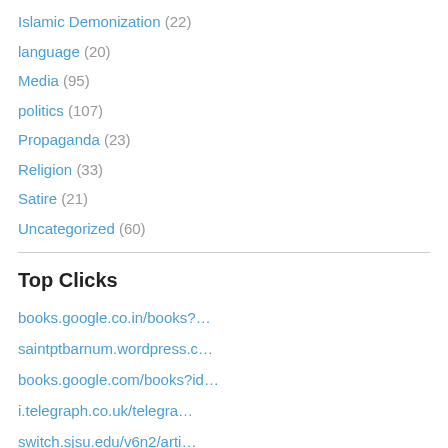Islamic Demonization (22)
language (20)
Media (95)
politics (107)
Propaganda (23)
Religion (33)
Satire (21)
Uncategorized (60)
Top Clicks
books.google.co.in/books?…
saintptbarnum.wordpress.c…
books.google.com/books?id…
i.telegraph.co.uk/telegra…
switch.sjsu.edu/v6n2/arti…
en.wikipedia.org/wiki/Out…
books.google.co.in/books?…
eands.caltech.edu/article…